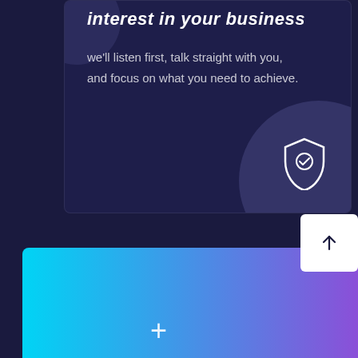interest in your business
we'll listen first, talk straight with you, and focus on what you need to achieve.
[Figure (illustration): Shield with checkmark icon, white outline on dark navy background with decorative circle]
[Figure (illustration): Gradient bar from cyan to purple with plus icon and white arrow-up button]